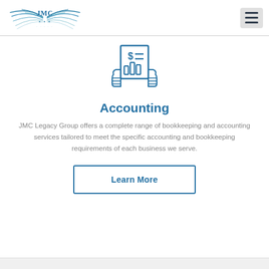[Figure (logo): JMC Legacy Group logo with stylized wings and JMC lettering in teal/blue]
[Figure (illustration): Icon of hands holding a document with dollar sign and bar chart, drawn in blue outline style]
Accounting
JMC Legacy Group offers a complete range of bookkeeping and accounting services tailored to meet the specific accounting and bookkeeping requirements of each business we serve.
Learn More